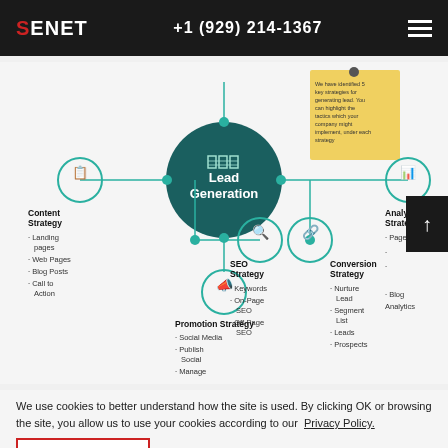SENET | +1 (929) 214-1367
[Figure (infographic): Lead Generation strategy infographic showing a central 'Lead Generation' circle connected to: Content Strategy (Landing pages, Web Pages, Blog Posts, Call to Action), SEO Strategy (Keywords, On-Page SEO, Off-Page SEO), Promotion Strategy (Social Media, Publish Social, Manage), Conversion Strategy (Nurture Lead, Segment List, Leads, Prospects), and Analytics Strategy (Page Visits, Blog Analytics). A sticky note in the top right corner reads: 'We have identified 5 key strategies for generating lead. You can highlight the tactics which your company might implement, under each strategy.']
We use cookies to better understand how the site is used. By clicking OK or browsing the site, you allow us to use your cookies according to our Privacy Policy.
OK